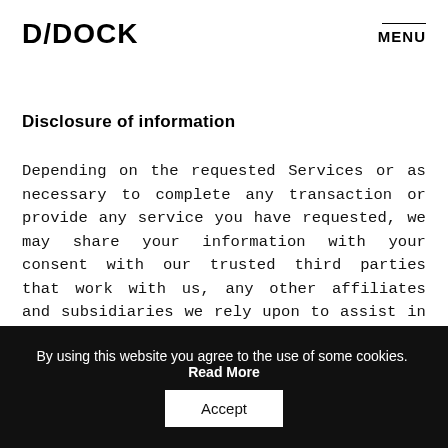D/DOCK  MENU
Disclosure of information
Depending on the requested Services or as necessary to complete any transaction or provide any service you have requested, we may share your information with your consent with our trusted third parties that work with us, any other affiliates and subsidiaries we rely upon to assist in the operation of the Website and Services available to you. We do not share Personal Information with unaffiliated third parties. These service providers are not authorized to
By using this website you agree to the use of some cookies. Read More  Accept